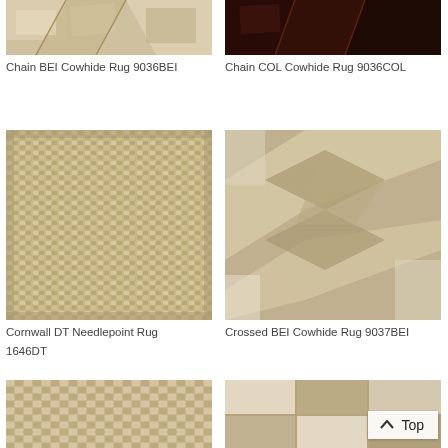[Figure (photo): Close-up of Chain BEI Cowhide Rug 9036BEI showing geometric pattern in beige/cream tones]
Chain BEI Cowhide Rug 9036BEI
[Figure (photo): Close-up of Chain COL Cowhide Rug 9036COL showing dark chocolate/brown geometric pattern]
Chain COL Cowhide Rug 9036COL
[Figure (photo): Close-up of Cornwall DT Needlepoint Rug 1646DT showing woven tan/beige texture]
Cornwall DT Needlepoint Rug 1646DT
[Figure (photo): Close-up of Crossed BEI Cowhide Rug 9037BEI showing crossed geometric shapes in beige and cream]
Crossed BEI Cowhide Rug 9037BEI
[Figure (photo): Bottom-left partial rug image with herringbone/basket weave pattern in tan]
[Figure (photo): Bottom-right partial rug image with square patchwork pattern in cream and tan cowhide]